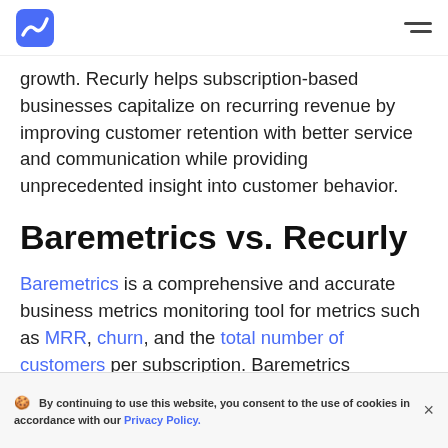Baremetrics [logo] [hamburger menu]
growth. Recurly helps subscription-based businesses capitalize on recurring revenue by improving customer retention with better service and communication while providing unprecedented insight into customer behavior.
Baremetrics vs. Recurly
Baremetrics is a comprehensive and accurate business metrics monitoring tool for metrics such as MRR, churn, and the total number of customers per subscription. Baremetrics
🍪  By continuing to use this website, you consent to the use of cookies in accordance with our Privacy Policy.